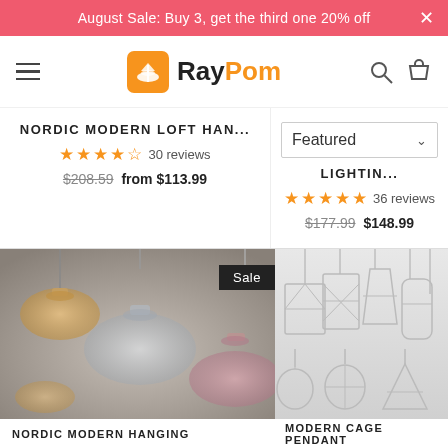August Sale: Buy 3, get the third one 20% off
[Figure (logo): RayPom logo with orange icon and black/orange text]
NORDIC MODERN LOFT HAN...
Featured
LIGHTIN...
30 reviews
36 reviews
$208.59 from $113.99
$177.99 $148.99
[Figure (photo): Nordic modern glass pendant lights in amber, clear and pink/rose colors hanging against grey background, Sale badge visible]
[Figure (photo): Modern cage pendant lights in white/silver geometric wire cage designs hanging against light background]
NORDIC MODERN HANGING
MODERN CAGE PENDANT